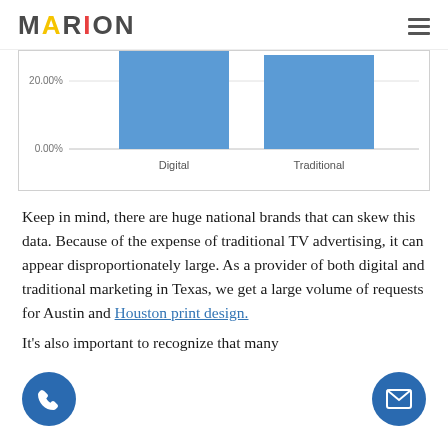MARION
[Figure (bar-chart): Bar chart showing Digital and Traditional marketing percentages, both bars approximately equal height above 20.00%, x-axis shows 0.00% and 20.00% gridlines]
Keep in mind, there are huge national brands that can skew this data. Because of the expense of traditional TV advertising, it can appear disproportionately large. As a provider of both digital and traditional marketing in Texas, we get a large volume of requests for Austin and Houston print design.
It's also important to recognize that many